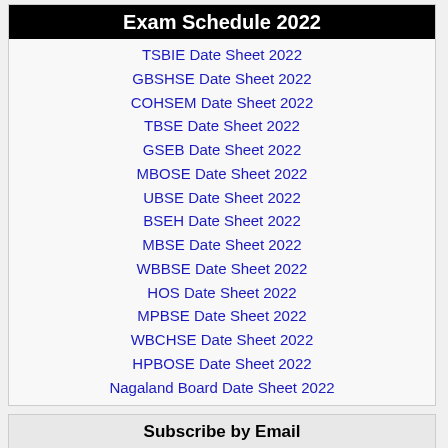Exam Schedule 2022
TSBIE Date Sheet 2022
GBSHSE Date Sheet 2022
COHSEM Date Sheet 2022
TBSE Date Sheet 2022
GSEB Date Sheet 2022
MBOSE Date Sheet 2022
UBSE Date Sheet 2022
BSEH Date Sheet 2022
MBSE Date Sheet 2022
WBBSE Date Sheet 2022
HOS Date Sheet 2022
MPBSE Date Sheet 2022
WBCHSE Date Sheet 2022
HPBOSE Date Sheet 2022
Nagaland Board Date Sheet 2022
Subscribe by Email
Your Email